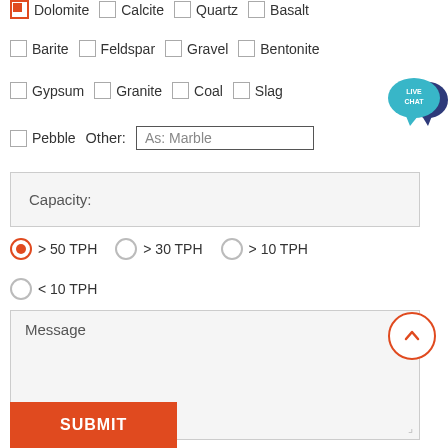Dolomite, Calcite, Quartz, Basalt (checkbox row, Dolomite checked)
Barite, Feldspar, Gravel, Bentonite
Gypsum, Granite, Coal, Slag
Pebble, Other: As: Marble
Capacity:
> 50 TPH (selected), > 30 TPH, > 10 TPH
< 10 TPH
Message
[Figure (infographic): Live Chat bubble icon, blue/teal speech bubble with LIVE CHAT text]
[Figure (infographic): Scroll up button, orange circle with upward arrow]
SUBMIT button